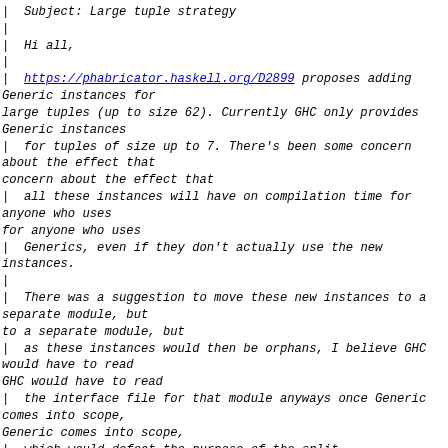| Subject: Large tuple strategy
|
| Hi all,
|
| https://phabricator.haskell.org/D2899 proposes adding Generic instances for
| large tuples (up to size 62). Currently GHC only provides Generic instances
| for tuples of size up to 7. There's been some concern about the effect that
| all these instances will have on compilation time for anyone who uses
| Generics, even if they don't actually use the new instances.
|
| There was a suggestion to move these new instances to a separate module, but
| as these instances would then be orphans, I believe GHC would have to read
| the interface file for that module anyways once Generic comes into scope,
| which would defeat the purpose of the split.
|
| It occurred to me that rather than moving just these instances to a new
| module, we could move the large tuples themselves to a new module
| Data.LargeTuple and put the instances there. The Prelude would reexport the
| large tuples, so there would be no user-visible